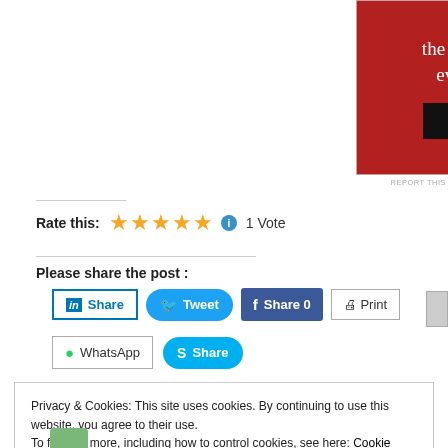[Figure (other): Red promotional banner with text 'the web – ours, and everyone else's.' and a black 'Start reading' button]
REPORT THIS
Rate this: ★★★★★ ℹ 1 Vote
Please share the post :
[Figure (other): Social share buttons: LinkedIn Share, Tweet, Facebook Share 0, Print, WhatsApp, Skype Share]
Privacy & Cookies: This site uses cookies. By continuing to use this website, you agree to their use.
To find out more, including how to control cookies, see here: Cookie Policy
Close and accept